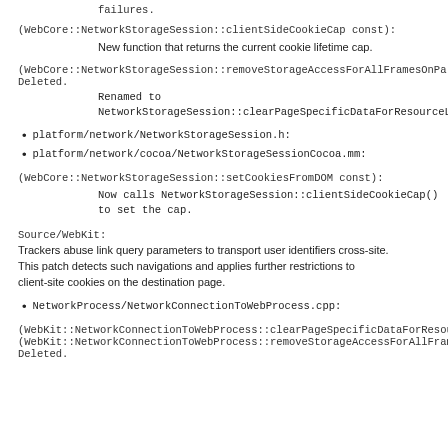failures.
(WebCore::NetworkStorageSession::clientSideCookieCap const):
New function that returns the current cookie lifetime cap.
(WebCore::NetworkStorageSession::removeStorageAccessForAllFramesOnPa
Deleted.
Renamed to NetworkStorageSession::clearPageSpecificDataForResourceLoadStat...
platform/network/NetworkStorageSession.h:
platform/network/cocoa/NetworkStorageSessionCocoa.mm:
(WebCore::NetworkStorageSession::setCookiesFromDOM const):
Now calls NetworkStorageSession::clientSideCookieCap()
to set the cap.
Source/WebKit:
Trackers abuse link query parameters to transport user identifiers cross-site.
This patch detects such navigations and applies further restrictions to
client-site cookies on the destination page.
NetworkProcess/NetworkConnectionToWebProcess.cpp:
(WebKit::NetworkConnectionToWebProcess::clearPageSpecificDataForResour...
(WebKit::NetworkConnectionToWebProcess::removeStorageAccessForAllFram...
Deleted.